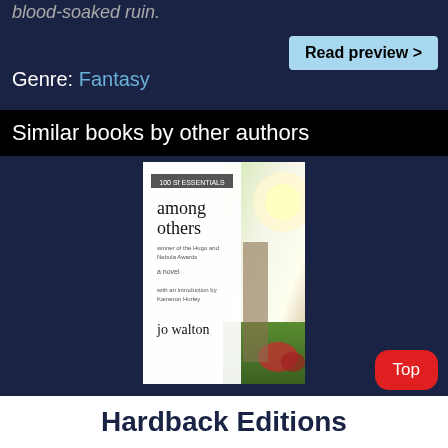blood-soaked ruin.
Read preview >
Genre: Fantasy
Similar books by other authors
[Figure (photo): Book cover of 'Among Others' by Jo Walton, showing a white book cover with title text overlaid on a nature/outdoor background with sunlight and greenery]
Among Others
Jo Walton
Top
Hardback Editions